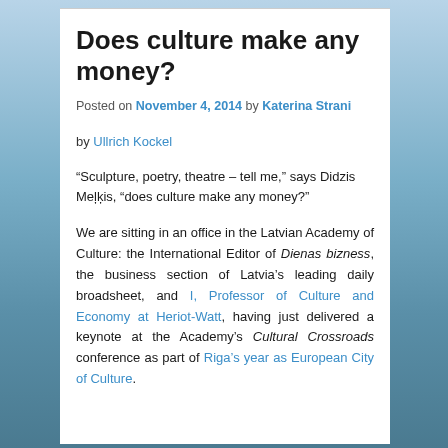Does culture make any money?
Posted on November 4, 2014 by Katerina Strani
by Ullrich Kockel
“Sculpture, poetry, theatre – tell me,” says Didzis Meļkis, “does culture make any money?”
We are sitting in an office in the Latvian Academy of Culture: the International Editor of Dienas bizness, the business section of Latvia’s leading daily broadsheet, and I, Professor of Culture and Economy at Heriot-Watt, having just delivered a keynote at the Academy’s Cultural Crossroads conference as part of Riga’s year as European City of Culture.